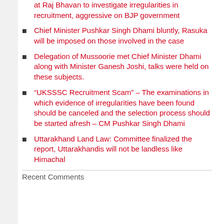at Raj Bhavan to investigate irregularities in recruitment, aggressive on BJP government
Chief Minister Pushkar Singh Dhami bluntly, Rasuka will be imposed on those involved in the case
Delegation of Mussoorie met Chief Minister Dhami along with Minister Ganesh Joshi, talks were held on these subjects.
“UKSSSC Recruitment Scam” – The examinations in which evidence of irregularities have been found should be canceled and the selection process should be started afresh – CM Pushkar Singh Dhami
Uttarakhand Land Law: Committee finalized the report, Uttarakhandis will not be landless like Himachal
Recent Comments